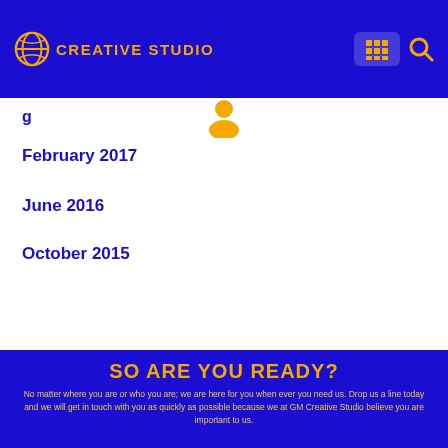GM Creative Studio
February 2017
June 2016
October 2015
SO ARE YOU READY?
No matter where you are or who you are; we are here for you when ever you need us. Drop us a line today and we will get in touch with you as quickly as possible because we at GM Creative Studio believe you are important to us.